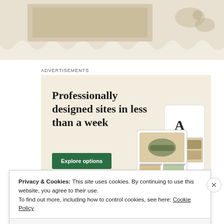[Figure (photo): Top portion of a decorative scallop-edged vintage photo tray or frame with floral motifs, beige/cream tones]
Advertisements
[Figure (infographic): Advertisement for a website builder service. Headline: 'Professionally designed sites in less than a week'. Green button: 'Explore options'. Shows mockup screenshots of food/lifestyle websites. Wix logo at bottom left.]
Privacy & Cookies: This site uses cookies. By continuing to use this website, you agree to their use.
To find out more, including how to control cookies, see here: Cookie Policy
Close and accept